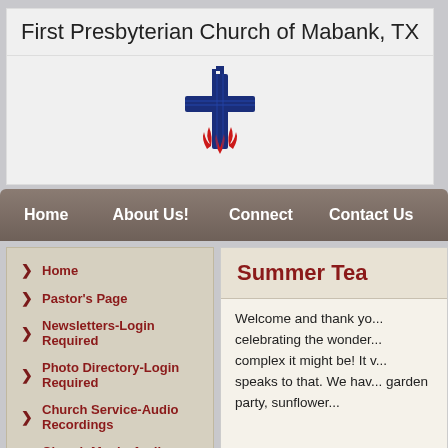First Presbyterian Church of Mabank, TX
[Figure (logo): Presbyterian Church (USA) logo: a blue cross with a dove/flame design and red flames at the base]
Home
About Us!
Connect
Contact Us
Home
Pastor's Page
Newsletters-Login Required
Photo Directory-Login Required
Church Service-Audio Recordings
Church Music-Audio Recordings
Videos
Calendar
Summer Tea
Welcome and thank yo... celebrating the wonder... complex it might be! It v... speaks to that. We hav... garden party, sunflower...